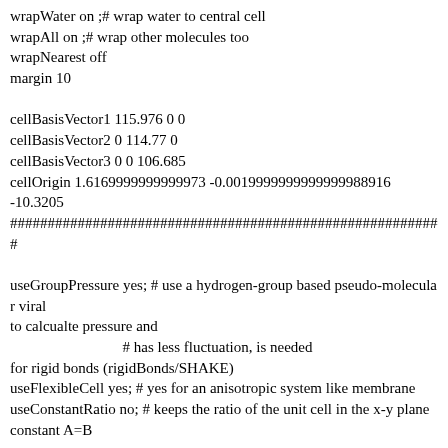wrapWater on ;# wrap water to central cell
wrapAll on ;# wrap other molecules too
wrapNearest off
margin 10

cellBasisVector1 115.976 0 0
cellBasisVector2 0 114.77 0
cellBasisVector3 0 0 106.685
cellOrigin 1.6169999999999973 -0.0019999999999999988916
-10.3205
##########################################################

useGroupPressure yes; # use a hydrogen-group based pseudo-molecular viral
to calcualte pressure and
                              # has less fluctuation, is needed
for rigid bonds (rigidBonds/SHAKE)
useFlexibleCell yes; # yes for an anisotropic system like membrane
useConstantRatio no; # keeps the ratio of the unit cell in the x-y plane
constant A=B

# with grouppressure, works better, holes still there

LangevinPiston on